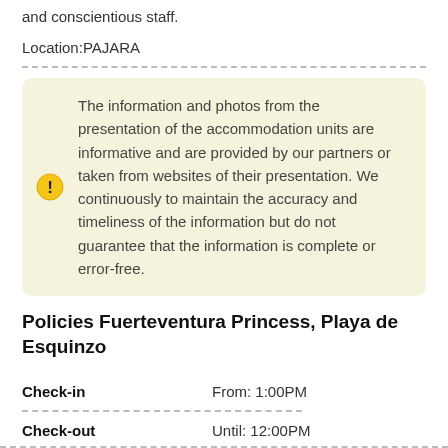and conscientious staff.
Location:PAJARA
The information and photos from the presentation of the accommodation units are informative and are provided by our partners or taken from websites of their presentation. We continuously to maintain the accuracy and timeliness of the information but do not guarantee that the information is complete or error-free.
Policies Fuerteventura Princess, Playa de Esquinzo
Check-in	From: 1:00PM
Check-out	Until: 12:00PM